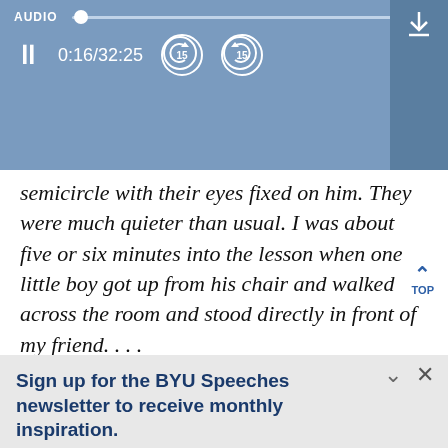[Figure (screenshot): Audio player bar with AUDIO label, slider, pause button, time display 0:16/32:25, rewind and forward 15-second buttons, SPEED 1.0x, and download icon]
semicircle with their eyes fixed on him. They were much quieter than usual. I was about five or six minutes into the lesson when one little boy got up from his chair and walked across the room and stood directly in front of my friend. . . .
Sign up for the BYU Speeches newsletter to receive monthly inspiration.
A little hope in your inbox.
Enter your email
SUBSCRIBE